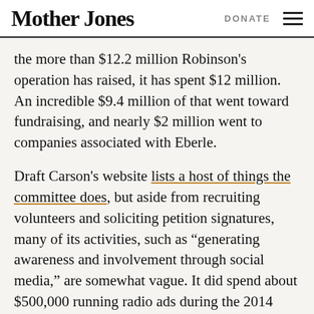Mother Jones | DONATE
the more than $12.2 million Robinson's operation has raised, it has spent $12 million. An incredible $9.4 million of that went toward fundraising, and nearly $2 million went to companies associated with Eberle.
Draft Carson's website lists a host of things the committee does, but aside from recruiting volunteers and soliciting petition signatures, many of its activities, such as “generating awareness and involvement through social media,” are somewhat vague. It did spend about $500,000 running radio ads during the 2014 midterm elections: One ad, which attacked the energy policy of then-Sen. Mary